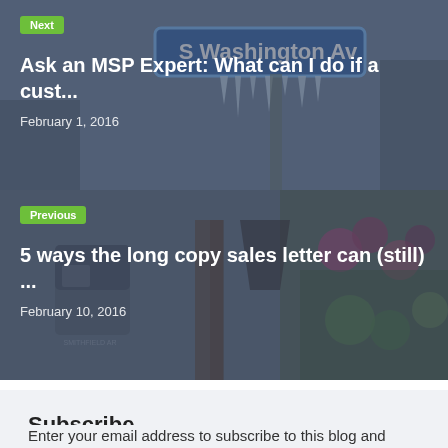[Figure (photo): Next post card with icy street sign photo showing 'S Washington Av'. Overlay with green 'Next' tag, title 'Ask an MSP Expert: What can I do if a cust...', date 'February 1, 2016']
[Figure (photo): Previous post card with mailbox and colorful flowers photo. Overlay with green 'Previous' tag, title '5 ways the long copy sales letter can (still) ...', date 'February 10, 2016']
Subscribe
Enter your email address to subscribe to this blog and